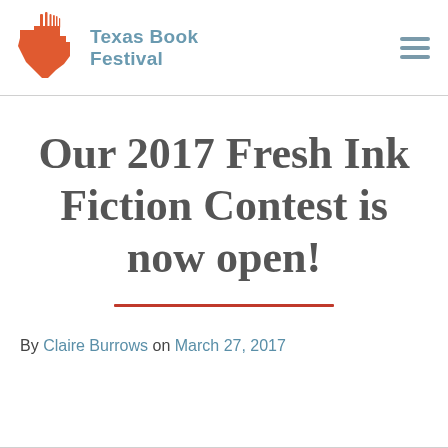[Figure (logo): Texas Book Festival logo with orange Texas state shape icon and blue text reading 'Texas Book Festival']
Our 2017 Fresh Ink Fiction Contest is now open!
By Claire Burrows on March 27, 2017